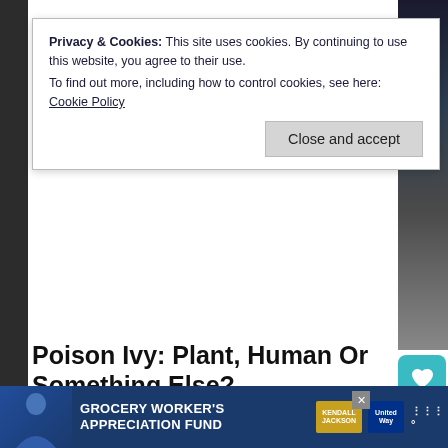Privacy & Cookies: This site uses cookies. By continuing to use this website, you agree to their use.
To find out more, including how to control cookies, see here: Cookie Policy
Close and accept
Poison Ivy: Plant, Human Or Something Else?
January 20, 2016   Corrina Lawson
Poison Ivy and the Joker are in Gotham, Bruce Wayne looks to be Batman again, Martian Manhunter needs to make the world safe for biscuits, and the original Titans gather. All this and more in this week's DC reviews.
⊙ Continue Reading
[Figure (infographic): Ad banner for Grocery Worker's Appreciation Fund with Kendall Jackson and United Way logos]